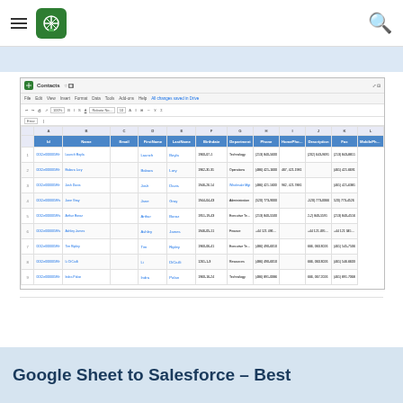Navigation bar with hamburger menu, logo, and search icon
[Figure (screenshot): Google Sheets spreadsheet showing Contacts data with columns: Id, Name, Email, FirstName, LastName, Birthdate, Department, Phone, HomePhone, Description, Fax, MobilePhone. Contains 10 rows of sample Salesforce contact data including names like Launch Boyla, Babara Lory, Josh Davis, Jane Gray, Arthur Boroz, Ashley James, Tim Ripley, Li DiCiulli, Indra Polan.]
Google Sheet to Salesforce – Best